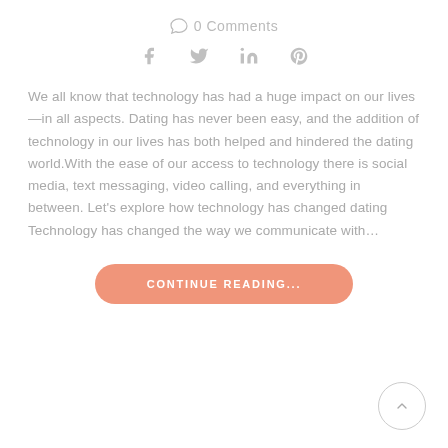0 Comments
[Figure (other): Social sharing icons: Facebook, Twitter, LinkedIn, Pinterest]
We all know that technology has had a huge impact on our lives—in all aspects. Dating has never been easy, and the addition of technology in our lives has both helped and hindered the dating world.With the ease of our access to technology there is social media, text messaging, video calling, and everything in between. Let's explore how technology has changed dating Technology has changed the way we communicate with…
[Figure (other): CONTINUE READING... button (salmon/coral rounded pill button)]
[Figure (other): Back to top circular button with upward chevron arrow]